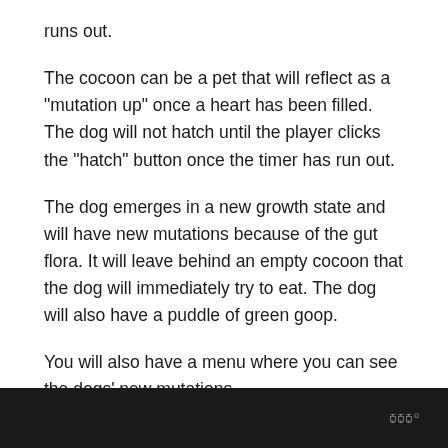runs out.
The cocoon can be a pet that will reflect as a "mutation up" once a heart has been filled. The dog will not hatch until the player clicks the "hatch" button once the timer has run out.
The dog emerges in a new growth state and will have new mutations because of the gut flora. It will leave behind an empty cocoon that the dog will immediately try to eat. The dog will also have a puddle of green goop.
You will also have a menu where you can see the dogs' new mutations.
WWº